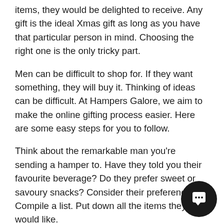items, they would be delighted to receive. Any gift is the ideal Xmas gift as long as you have that particular person in mind. Choosing the right one is the only tricky part.
Men can be difficult to shop for. If they want something, they will buy it. Thinking of ideas can be difficult. At Hampers Galore, we aim to make the online gifting process easier. Here are some easy steps for you to follow.
Think about the remarkable man you're sending a hamper to. Have they told you their favourite beverage? Do they prefer sweet or savoury snacks? Consider their preferences. Compile a list. Put down all the items they would like.
Browse our range of gift hampers for him. We have a wide variety of selections available to meet your needs. Have a look at all the items included. A list of items is located in the product description. Look at a few hampers and compare. What's different? What's included? Will he like everything